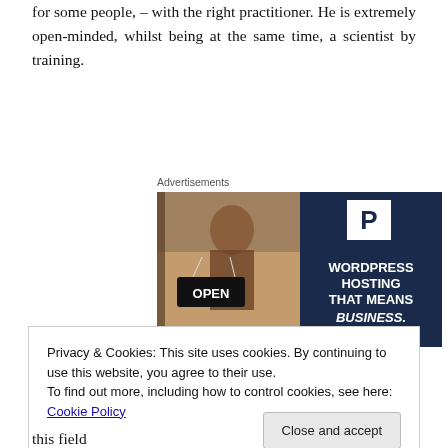for some people, – with the right practitioner. He is extremely open-minded, whilst being at the same time, a scientist by training.
Advertisements
[Figure (illustration): Advertisement banner split in two halves: left side shows a smiling woman holding an OPEN sign in a shop doorway, right side is dark navy blue with a white P logo and bold white text reading 'WORDPRESS HOSTING THAT MEANS BUSINESS.']
Privacy & Cookies: This site uses cookies. By continuing to use this website, you agree to their use.
To find out more, including how to control cookies, see here: Cookie Policy
this field